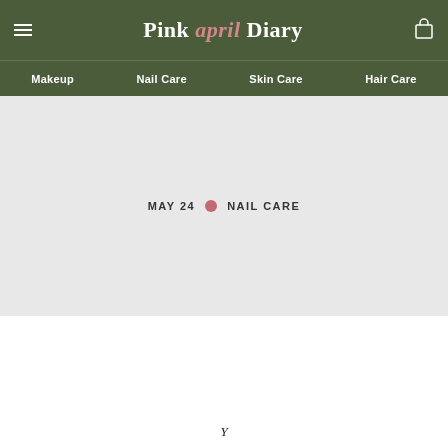Pink april Diary
Makeup  Nail Care  Skin Care  Hair Care
[Figure (other): Hero image area with light gray background showing blog post metadata]
MAY 24 • NAIL CARE